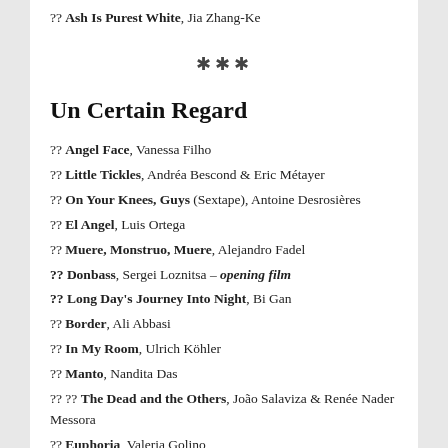?? Ash Is Purest White, Jia Zhang-Ke
***
Un Certain Regard
?? Angel Face, Vanessa Filho
?? Little Tickles, Andréa Bescond & Eric Métayer
?? On Your Knees, Guys (Sextape), Antoine Desrosières
?? El Angel, Luis Ortega
?? Muere, Monstruo, Muere, Alejandro Fadel
?? Donbass, Sergei Loznitsa – opening film
?? Long Day's Journey Into Night, Bi Gan
?? Border, Ali Abbasi
?? In My Room, Ulrich Köhler
?? Manto, Nandita Das
?? ?? The Dead and the Others, João Salaviza & Renée Nader Messora
?? Euphoria, Valeria Golino